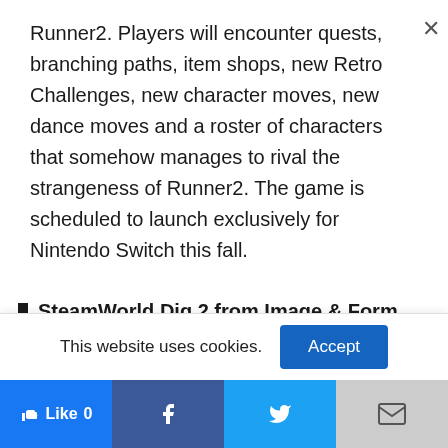Runner2. Players will encounter quests, branching paths, item shops, new Retro Challenges, new character moves, new dance moves and a roster of characters that somehow manages to rival the strangeness of Runner2. The game is scheduled to launch exclusively for Nintendo Switch this fall.
SteamWorld Dig 2 from Image & Form Games: In the sequel to the award winning...
This website uses cookies.
Accept
Like 0
[Figure (other): Social share bar with Like, Facebook, Twitter, and Mail buttons]